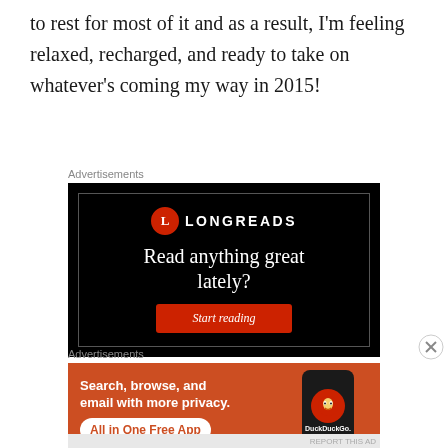to rest for most of it and as a result, I'm feeling relaxed, recharged, and ready to take on whatever's coming my way in 2015!
Advertisements
[Figure (illustration): Longreads advertisement on black background with logo, tagline 'Read anything great lately?' and red 'Start reading' button]
Advertisements
[Figure (illustration): DuckDuckGo advertisement on orange background with text 'Search, browse, and email with more privacy. All in One Free App' and phone image with DuckDuckGo logo]